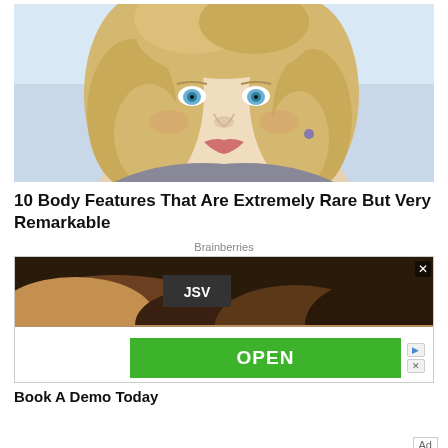[Figure (photo): Portrait photo of a young blonde woman with curly hair and blue eyes, smiling, with a soft light background]
10 Body Features That Are Extremely Rare But Very Remarkable
Brainberries
[Figure (screenshot): Advertisement banner showing a dark background image with JSV badge, a horizontal white strip, an OPEN green button, play and close icons, and 'Book A Demo Today' text below]